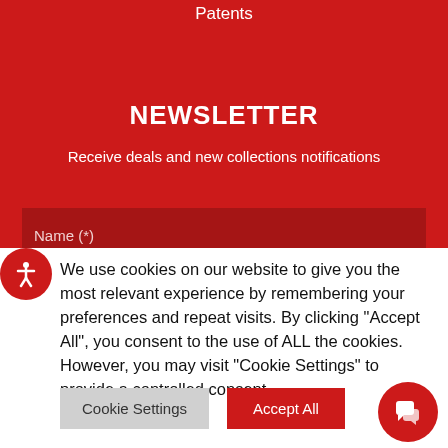Patents
NEWSLETTER
Receive deals and new collections notifications
Name (*)
We use cookies on our website to give you the most relevant experience by remembering your preferences and repeat visits. By clicking "Accept All", you consent to the use of ALL the cookies. However, you may visit "Cookie Settings" to provide a controlled consent.
Cookie Settings | Accept All